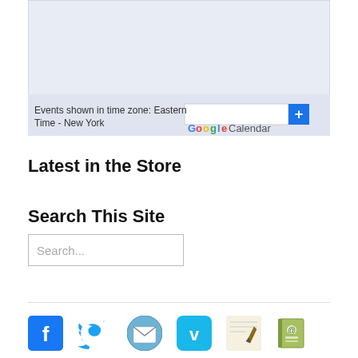[Figure (screenshot): Google Calendar widget embed showing light blue/lavender background with a footer bar displaying 'Events shown in time zone: Eastern Time - New York' on the left, and a search box with blue plus button and 'Google Calendar' label on the right]
Latest in the Store
Search This Site
[Figure (screenshot): Search input box with placeholder text 'Search...']
[Figure (infographic): Row of social media icons: Facebook (blue square with f), Twitter (blue bird), Email/Mail (envelope icon), Vimeo (teal square with V), Pen/writing icon, and a green address book icon]